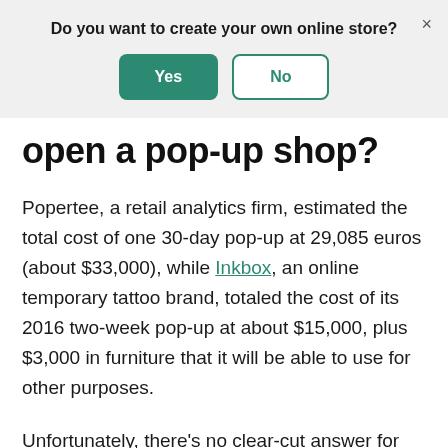Do you want to create your own online store?
[Figure (other): Modal dialog with Yes (green filled button) and No (green outlined button) options, and an X close button]
open a pop-up shop?
Popertee, a retail analytics firm, estimated the total cost of one 30-day pop-up at 29,085 euros (about $33,000), while Inkbox, an online temporary tattoo brand, totaled the cost of its 2016 two-week pop-up at about $15,000, plus $3,000 in furniture that it will be able to use for other purposes.
Unfortunately, there's no clear-cut answer for